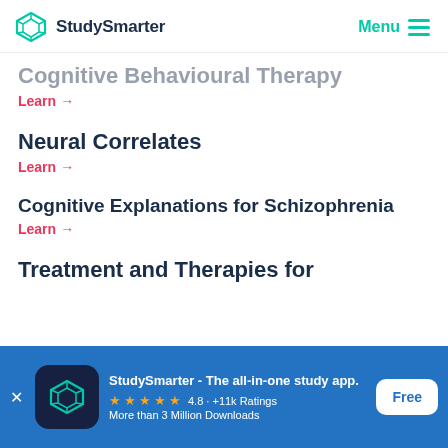StudySmarter | Menu
Cognitive Behavioural Therapy
Learn →
Neural Correlates
Learn →
Cognitive Explanations for Schizophrenia
Learn →
Treatment and Therapies for
[Figure (screenshot): StudySmarter app download banner with logo, star rating 4.8, +11k Ratings, More than 3 Million Downloads, and Free button]